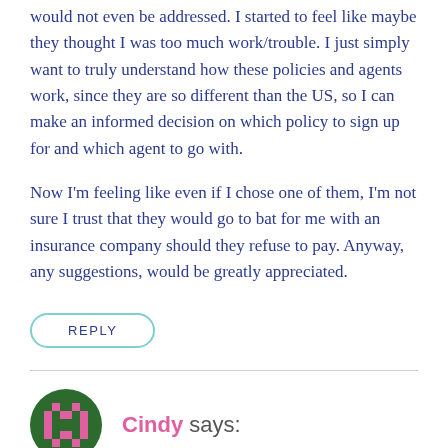would not even be addressed. I started to feel like maybe they thought I was too much work/trouble. I just simply want to truly understand how these policies and agents work, since they are so different than the US, so I can make an informed decision on which policy to sign up for and which agent to go with.

Now I'm feeling like even if I chose one of them, I'm not sure I trust that they would go to bat for me with an insurance company should they refuse to pay. Anyway, any suggestions, would be greatly appreciated.
REPLY
Cindy says:
2nd April 2022 at 11:47 am